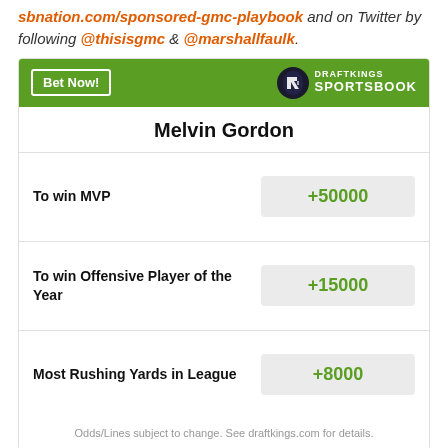sbnation.com/sponsored-gmc-playbook and on Twitter by following @thisisgmc & @marshallfaulk.
| Bet | Odds |
| --- | --- |
| Melvin Gordon |  |
| To win MVP | +50000 |
| To win Offensive Player of the Year | +15000 |
| Most Rushing Yards in League | +8000 |
Odds/Lines subject to change. See draftkings.com for details.
IN THIS STREAM